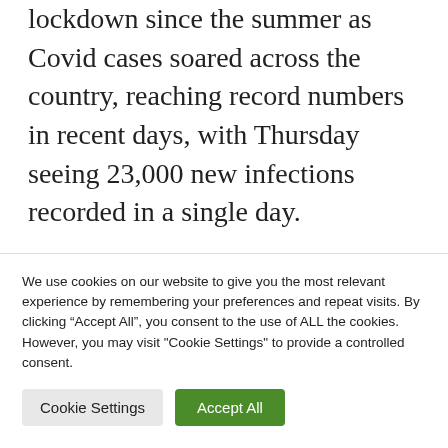lockdown since the summer as Covid cases soared across the country, reaching record numbers in recent days, with Thursday seeing 23,000 new infections recorded in a single day.
The lockdown, which is set to last for at least three weeks, will see restaurants, bars and essential shops closing by 8 p.m. and non-essential retail shops and services shuttered by 6 p.m. Social gatherings in the
We use cookies on our website to give you the most relevant experience by remembering your preferences and repeat visits. By clicking “Accept All”, you consent to the use of ALL the cookies. However, you may visit "Cookie Settings" to provide a controlled consent.